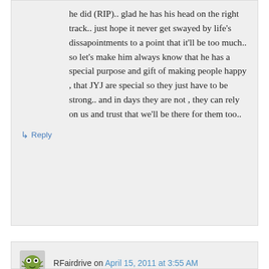he did (RIP).. glad he has his head on the right track.. just hope it never get swayed by life's dissapointments to a point that it'll be too much.. so let's make him always know that he has a special purpose and gift of making people happy , that JYJ are special so they just have to be strong.. and in days they are not , they can rely on us and trust that we'll be there for them too..
↳ Reply
RFairdrive on April 15, 2011 at 3:55 AM
This is why I find this fandom amazing with all these fans like you.